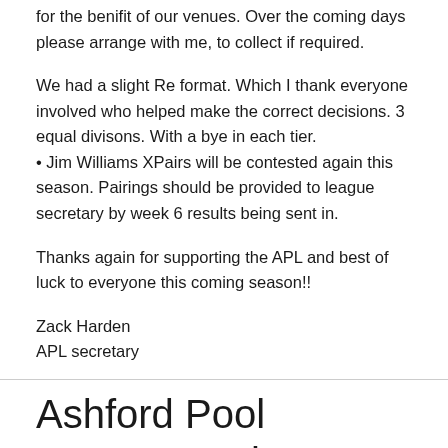for the benifit of our venues. Over the coming days please arrange with me, to collect if required.
We had a slight Re format. Which I thank everyone involved who helped make the correct decisions. 3 equal divisons. With a bye in each tier.
• Jim Williams XPairs will be contested again this season. Pairings should be provided to league secretary by week 6 results being sent in.
Thanks again for supporting the APL and best of luck to everyone this coming season!!
Zack Harden
APL secretary
Ashford Pool League, Welcomes